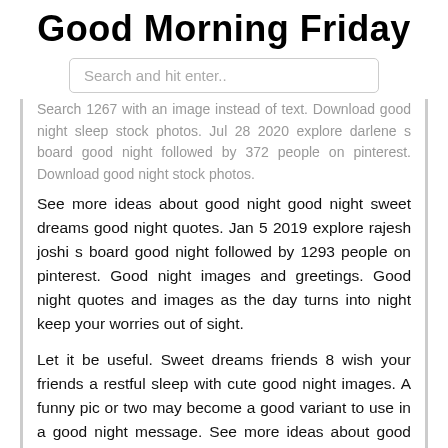Good Morning Friday
Search and hit enter..
Search 1267 with an image instead of text. Download good night sleep stock photos. Jul 28 2020 explore darlene s board good night followed by 372 people on pinterest. Download good night stock photos.
See more ideas about good night good night sweet dreams good night quotes. Jan 5 2019 explore rajesh joshi s board good night followed by 1293 people on pinterest. Good night images and greetings. Good night quotes and images as the day turns into night keep your worries out of sight.
Let it be useful. Sweet dreams friends 8 wish your friends a restful sleep with cute good night images. A funny pic or two may become a good variant to use in a good night message. See more ideas about good night sweet dreams night.
You get to know good night. Affordable and search from...